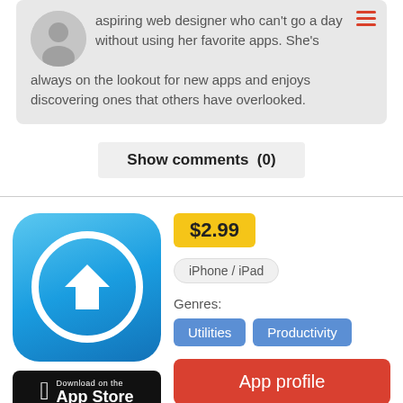aspiring web designer who can't go a day without using her favorite apps. She's always on the lookout for new apps and enjoys discovering ones that others have overlooked.
Show comments  (0)
[Figure (illustration): App icon: blue rounded square with white circle and downward arrow]
$2.99
iPhone / iPad
Genres:
Utilities
Productivity
App profile
Download on the App Store
Add to